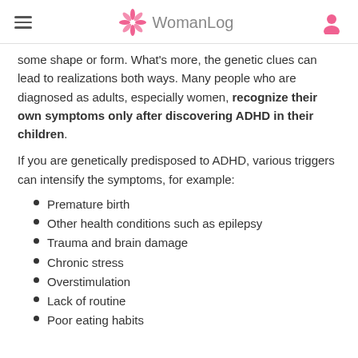WomanLog
some shape or form. What's more, the genetic clues can lead to realizations both ways. Many people who are diagnosed as adults, especially women, recognize their own symptoms only after discovering ADHD in their children.
If you are genetically predisposed to ADHD, various triggers can intensify the symptoms, for example:
Premature birth
Other health conditions such as epilepsy
Trauma and brain damage
Chronic stress
Overstimulation
Lack of routine
Poor eating habits